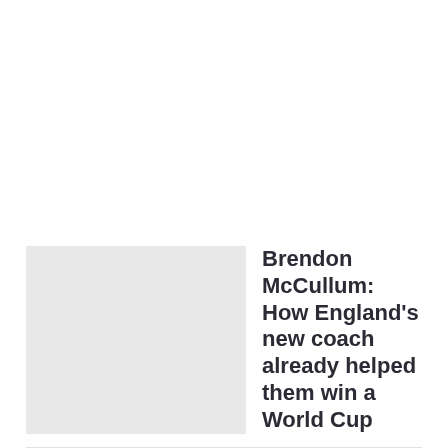[Figure (photo): Thumbnail image placeholder (light gray rectangle) for Brendon McCullum article]
Brendon McCullum: How England's new coach already helped them win a World Cup
The Kiwi was the inspiration for England's 2019 triumph (Getty Images) Before he even starts work as England's Test coach, Brendon McCullum can already claim to have left an indelible … READ MORE »